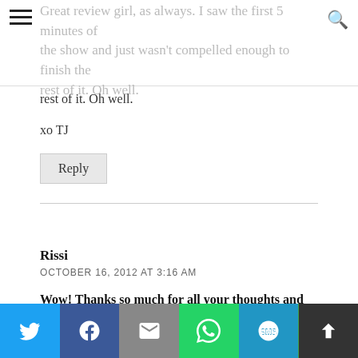Great review girl, as always. I saw the first 5 minutes of the show and just wasn't compelled enough to finish the rest of it. Oh well.
rest of it. Oh well.
xo TJ
Reply
Rissi
OCTOBER 16, 2012 AT 3:16 AM
Wow! Thanks so much for all your thoughts and feedback, readers and friends – I enjoy each and every one of your comments! Keep them coming. If anyone else wants to chime in their thoughts about